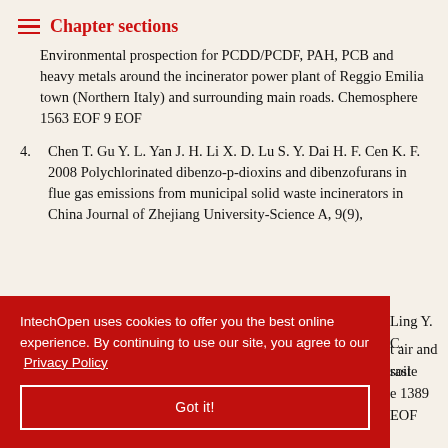Chapter sections
Environmental prospection for PCDD/PCDF, PAH, PCB and heavy metals around the incinerator power plant of Reggio Emilia town (Northern Italy) and surrounding main roads. Chemosphere 1563 EOF 9 EOF
4. Chen T. Gu Y. L. Yan J. H. Li X. D. Lu S. Y. Dai H. F. Cen K. F. 2008 Polychlorinated dibenzo-p-dioxins and dibenzofurans in flue gas emissions from municipal solid waste incinerators in China Journal of Zhejiang University-Science A, 9(9),
Ling Y. C. air and soil waste e 1389 EOF
1396 EOF
IntechOpen uses cookies to offer you the best online experience. By continuing to use our site, you agree to our Privacy Policy
Got it!